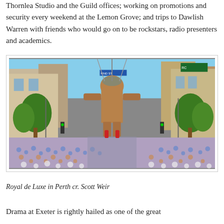Thornlea Studio and the Guild offices; working on promotions and security every weekend at the Lemon Grove; and trips to Dawlish Warren with friends who would go on to be rockstars, radio presenters and academics.
[Figure (photo): A large mechanical giant puppet walking down a crowded city street lined with trees and urban buildings, surrounded by a massive crowd of spectators. Sunny day, blue sky.]
Royal de Luxe in Perth cr. Scott Weir
Drama at Exeter is rightly hailed as one of the great